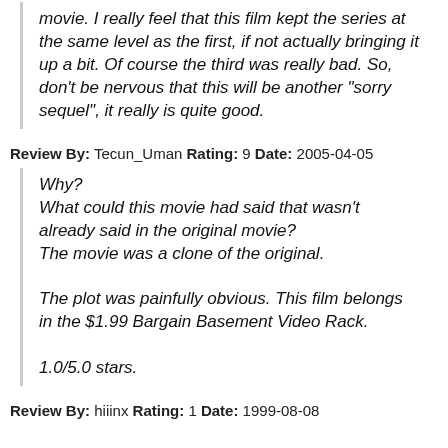movie. I really feel that this film kept the series at the same level as the first, if not actually bringing it up a bit. Of course the third was really bad. So, don’t be nervous that this will be another “sorry sequel”, it really is quite good.
Review By: Tecun_Uman Rating: 9 Date: 2005-04-05
Why?
What could this movie had said that wasn’t already said in the original movie?
The movie was a clone of the original.

The plot was painfully obvious. This film belongs in the $1.99 Bargain Basement Video Rack.

1.0/5.0 stars.
Review By: hiiinx Rating: 1 Date: 1999-08-08